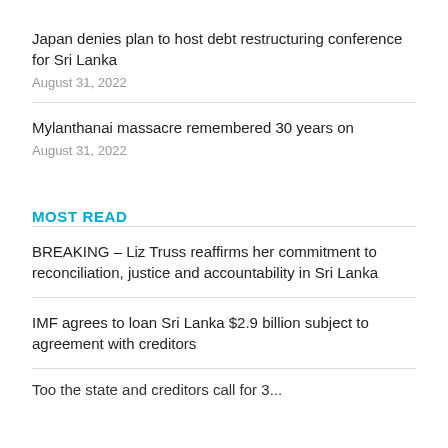Japan denies plan to host debt restructuring conference for Sri Lanka
August 31, 2022
Mylanthanai massacre remembered 30 years on
August 31, 2022
MOST READ
BREAKING – Liz Truss reaffirms her commitment to reconciliation, justice and accountability in Sri Lanka
IMF agrees to loan Sri Lanka $2.9 billion subject to agreement with creditors
Too the state and creditors call for 3...